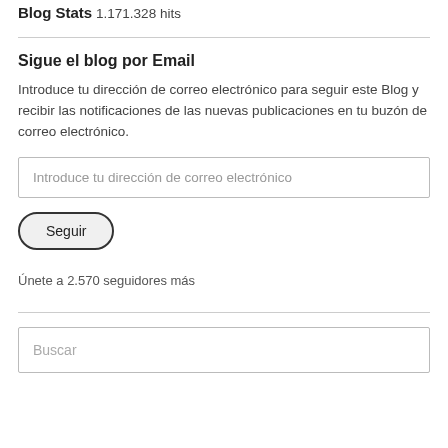Blog Stats
1.171.328 hits
Sigue el blog por Email
Introduce tu dirección de correo electrónico para seguir este Blog y recibir las notificaciones de las nuevas publicaciones en tu buzón de correo electrónico.
Introduce tu dirección de correo electrónico
Seguir
Únete a 2.570 seguidores más
Buscar